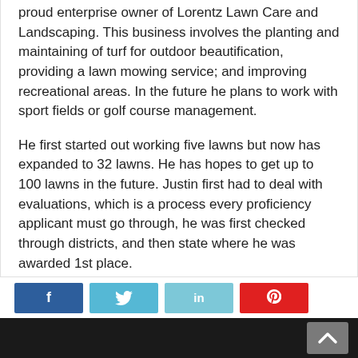proud enterprise owner of Lorentz Lawn Care and Landscaping. This business involves the planting and maintaining of turf for outdoor beautification, providing a lawn mowing service; and improving recreational areas. In the future he plans to work with sport fields or golf course management.
He first started out working five lawns but now has expanded to 32 lawns. He has hopes to get up to 100 lawns in the future. Justin first had to deal with evaluations, which is a process every proficiency applicant must go through, he was first checked through districts, and then state where he was awarded 1st place.
He plans to attend ATI when he graduates to pursue a career in Turf Grass Management and Landscaping.